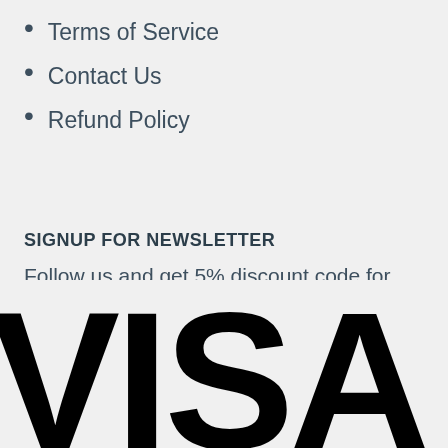Terms of Service
Contact Us
Refund Policy
SIGNUP FOR NEWSLETTER
Follow us and get 5% discount code for your first order and recevied lastest LEPIN hot promotion
[Figure (logo): VISA payment logo in large bold black text]